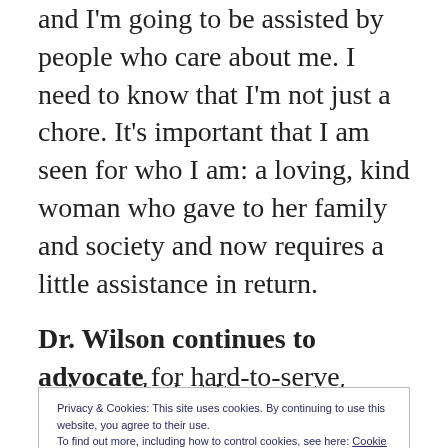and I'm going to be assisted by people who care about me. I need to know that I'm not just a chore. It's important that I am seen for who I am: a loving, kind woman who gave to her family and society and now requires a little assistance in return.
Dr. Wilson continues to advocate for hard-to-serve elders both in the United
Privacy & Cookies: This site uses cookies. By continuing to use this website, you agree to their use.
To find out more, including how to control cookies, see here: Cookie Policy
aging and what it means to 'grow old'.